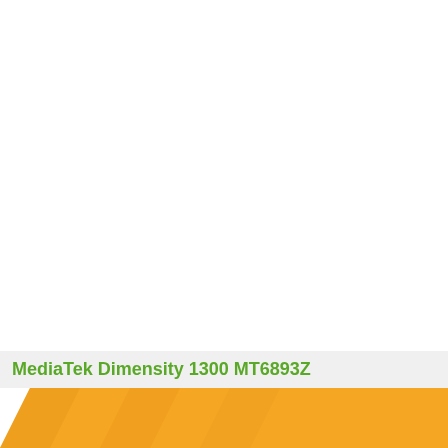MediaTek Dimensity 1300 MT6893Z
[Figure (logo): MediaTek orange parallelogram logo at bottom of page]